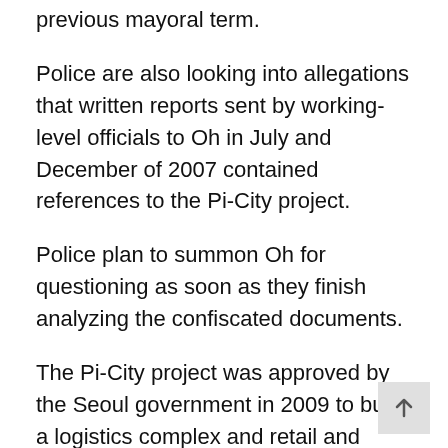previous mayoral term.
Police are also looking into allegations that written reports sent by working-level officials to Oh in July and December of 2007 contained references to the Pi-City project.
Police plan to summon Oh for questioning as soon as they finish analyzing the confiscated documents.
The Pi-City project was approved by the Seoul government in 2009 to build a logistics complex and retail and business facilities on a 99,000-square-meter lot in Yangjae-dong, southern Seoul, but was eventually halted after being tainted by allegations of various irregularities.
The Seoul metropolitan government issued a